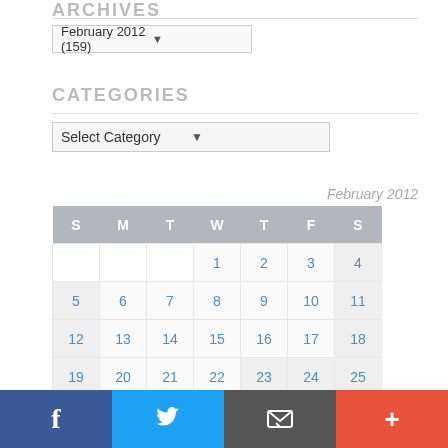ARCHIVES
[Figure (screenshot): Dropdown selector showing 'February 2012 (159)']
CATEGORIES
[Figure (screenshot): Dropdown selector showing 'Select Category']
| S | M | T | W | T | F | S |
| --- | --- | --- | --- | --- | --- | --- |
|  |  |  | 1 | 2 | 3 | 4 |
| 5 | 6 | 7 | 8 | 9 | 10 | 11 |
| 12 | 13 | 14 | 15 | 16 | 17 | 18 |
| 19 | 20 | 21 | 22 | 23 | 24 | 25 |
| 26 | 27 | 28 | 29 |  |  |  |
« Jan   Mar »
[Figure (infographic): Bottom navigation bar with Facebook, Twitter, Email, and Plus buttons]